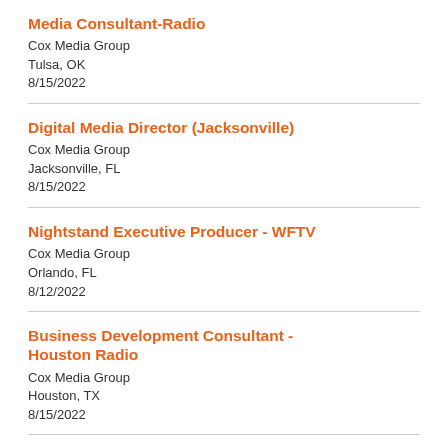Media Consultant-Radio
Cox Media Group
Tulsa, OK
8/15/2022
Digital Media Director (Jacksonville)
Cox Media Group
Jacksonville, FL
8/15/2022
Nightstand Executive Producer - WFTV
Cox Media Group
Orlando, FL
8/12/2022
Business Development Consultant - Houston Radio
Cox Media Group
Houston, TX
8/15/2022
Regional Sales Director
Cox Media Group